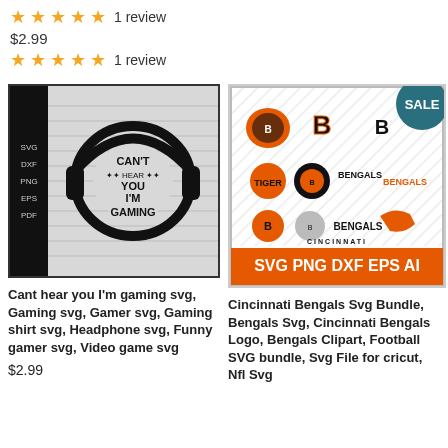★★★★★ 1 review
$2.99
★★★★★ 1 review
[Figure (illustration): Gaming SVG product image with headphones and text CAN'T HEAR YOU I'M GAMING, with format labels SVG DXF PNG EPS PDF on left sidebar]
[Figure (illustration): Cincinnati Bengals SVG Bundle product image with multiple Bengals logos and orange bar at bottom showing SVG PNG DXF EPS AI, with SALE badge]
Cant hear you I'm gaming svg, Gaming svg, Gamer svg, Gaming shirt svg, Headphone svg, Funny gamer svg, Video game svg
Cincinnati Bengals Svg Bundle, Bengals Svg, Cincinnati Bengals Logo, Bengals Clipart, Football SVG bundle, Svg File for cricut, Nfl Svg
$2.99